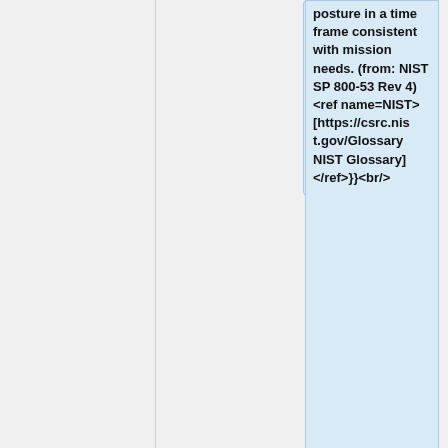posture in a time frame consistent with mission needs. (from: NIST SP 800-53 Rev 4) <ref name=NIST>[https://csrc.nist.gov/Glossary NIST Glossary]</ref>}}<br/>
=== Other Definitions ===
=== Other Definitions ===
Line 42:
Line 55:
=== Academic Definitions ===
=== Academic Definitions ===
Fredrik Björg et
Fredrik Björg et